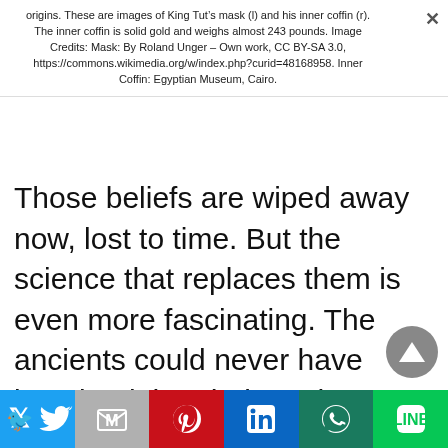origins. These are images of King Tut's mask (l) and his inner coffin (r). The inner coffin is solid gold and weighs almost 243 pounds. Image Credits: Mask: By Roland Unger – Own work, CC BY-SA 3.0, https://commons.wikimedia.org/w/index.php?curid=48168958. Inner Coffin: Egyptian Museum, Cairo.
Those beliefs are wiped away now, lost to time. But the science that replaces them is even more fascinating. The ancients could never have imagined that their myths would be replaced by science and that stars could explode and create gold and other elements. They could never have envisioned gigantic mountain-top telescopes that